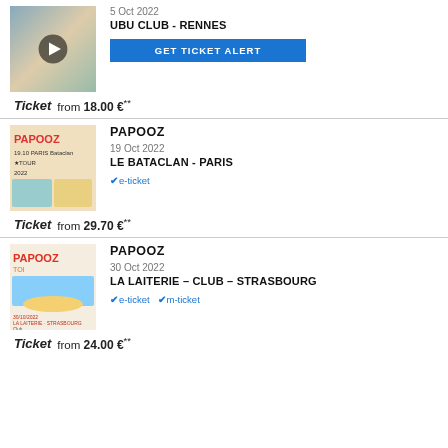[Figure (photo): Event image with play button overlay - photo of people outdoors]
5 Oct 2022
UBU CLUB - RENNES
GET TICKET ALERT
Ticket from 18.00 €**
[Figure (illustration): PAPOOZ concert poster illustration - 19.10 Paris Bataclan Tour 2022]
PAPOOZ
19 Oct 2022
LE BATACLAN - PARIS
✔e-ticket
Ticket from 29.70 €**
[Figure (illustration): PAPOOZ concert poster illustration - La Laiterie Strasbourg 30/10/2022]
PAPOOZ
30 Oct 2022
LA LAITERIE - CLUB - STRASBOURG
✔e-ticket ✔m-ticket
Ticket from 24.00 €**